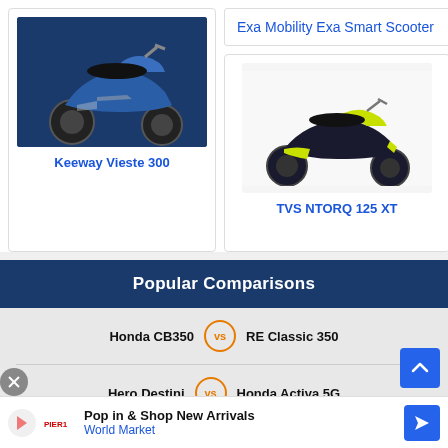Exa Mobility Exa Smart Scooter
[Figure (photo): Keeway Vieste 300 scooter, blue color on dark blue background]
Keeway Vieste 300
[Figure (photo): TVS NTORQ 125 XT scooter, dark with yellow-green accents on white background]
TVS NTORQ 125 XT
Popular Comparisons
Honda CB350 vs RE Classic 350
Hero Destini vs Honda Activa 5G
Jawa 42 vs Royal Enfield Classic
Pop in & Shop New Arrivals
World Market